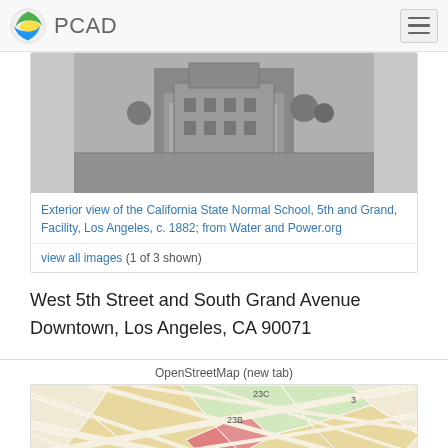PCAD
[Figure (photo): Black and white exterior view of the California State Normal School building, c. 1882]
Exterior view of the California State Normal School, 5th and Grand, Facility, Los Angeles, c. 1882; from Water and Power.org
view all images (1 of 3 shown)
West 5th Street and South Grand Avenue
Downtown, Los Angeles, CA 90071
OpenStreetMap (new tab)
[Figure (map): OpenStreetMap showing Bunker Hill area of Downtown Los Angeles with street grid and labels including 23C, 23B, and Bunker Hill]